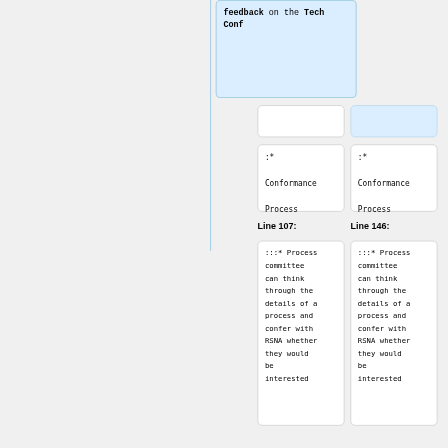feedback on the Tech Conf
:*
Conformance
Process
:*
Conformance
Process
Line 107:
Line 146:
:::* Process committee can think through the details of a process and confer with RSNA whether they would be interested
:::* Process committee can think through the details of a process and confer with RSNA whether they would be interested